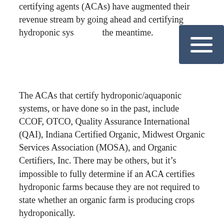certifying agents (ACAs) have augmented their revenue stream by going ahead and certifying hydroponic systems in the meantime.
The ACAs that certify hydroponic/aquaponic systems, or have done so in the past, include CCOF, OTCO, Quality Assurance International (QAI), Indiana Certified Organic, Midwest Organic Services Association (MOSA), and Organic Certifiers, Inc. There may be others, but it's impossible to fully determine if an ACA certifies hydroponic farms because they are not required to state whether an organic farm is producing crops hydroponically.
In response to this confusing state of affairs, Dave Chapman, an organic farmer in Vermont, drafted a petition to the NOP asking them to formally accept the NOSB recommendation (see sidebar below). On February 7, 2014, the National Organic Coalition (NOC) released their Position on Hydroponic Production in support of the NOSB recommendation from 2010 that stressed "organic farmers must retain all of the soil-based nutrients and beneficial soil organisms..."